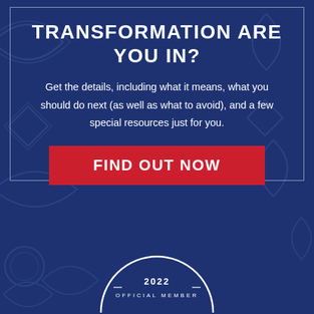TRANSFORMATION ARE YOU IN?
Get the details, including what it means, what you should do next (as well as what to avoid), and a few special resources just for you.
FIND OUT NOW
[Figure (other): Partial circular badge/seal with '2022 OFFICIAL MEMBER' text at the bottom of the page]